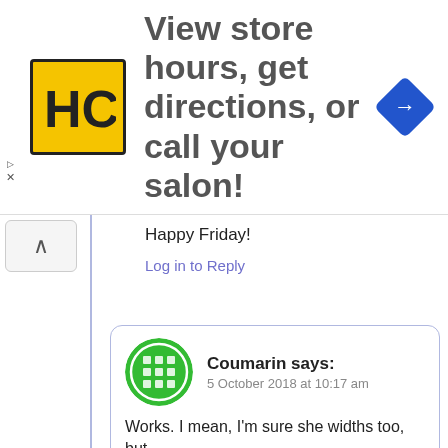[Figure (screenshot): Advertisement banner with HC logo, text 'View store hours, get directions, or call your salon!' and a blue map/navigation diamond icon]
Happy Friday!
Log in to Reply
Coumarin says:
5 October 2018 at 10:17 am
Works. I mean, I'm sure she widths too, but....
Log in to Reply
AngelaB says:
5 October 2018 at 11:19 am
Coumarin, that is a darling story! (l...